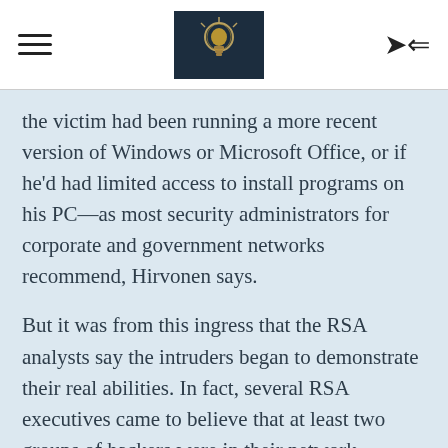[hamburger menu] [light bulb image] [back arrow]
the victim had been running a more recent version of Windows or Microsoft Office, or if he'd had limited access to install programs on his PC—as most security administrators for corporate and government networks recommend, Hirvonen says.
But it was from this ingress that the RSA analysts say the intruders began to demonstrate their real abilities. In fact, several RSA executives came to believe that at least two groups of hackers were in their network simultaneously—one highly skilled group exploiting the other's access, perhaps with o